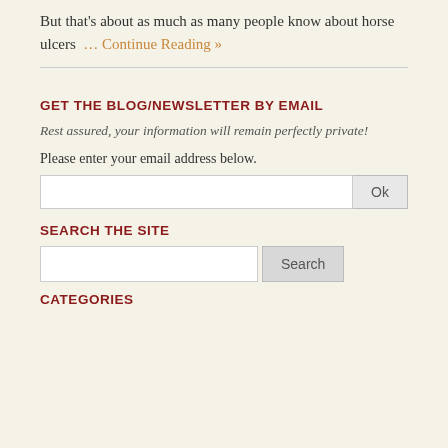But that's about as much as many people know about horse ulcers … Continue Reading »
GET THE BLOG/NEWSLETTER BY EMAIL
Rest assured, your information will remain perfectly private!
Please enter your email address below.
SEARCH THE SITE
CATEGORIES